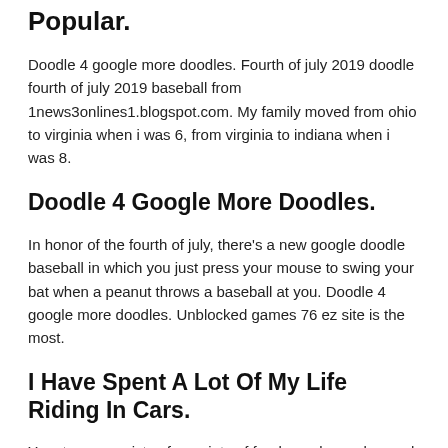Popular.
Doodle 4 google more doodles. Fourth of july 2019 doodle fourth of july 2019 baseball from 1news3onlines1.blogspot.com. My family moved from ohio to virginia when i was 6, from virginia to indiana when i was 8.
Doodle 4 Google More Doodles.
In honor of the fourth of july, there's a new google doodle baseball in which you just press your mouse to swing your bat when a peanut throws a baseball at you. Doodle 4 google more doodles. Unblocked games 76 ez site is the most.
I Have Spent A Lot Of My Life Riding In Cars.
Your team consists of a variety of foods, and you play each time for a different character, and the team of opponents is a peanut. The sites doodle on wednesday is a playable baseball game in which a bunch of